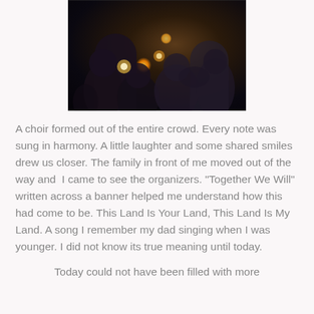[Figure (photo): A dark nighttime crowd scene with people holding glowing candles or lanterns, silhouettes visible against a dark background with warm orange light sources.]
A choir formed out of the entire crowd. Every note was sung in harmony. A little laughter and some shared smiles drew us closer. The family in front of me moved out of the way and  I came to see the organizers. "Together We Will" written across a banner helped me understand how this had come to be. This Land Is Your Land, This Land Is My Land. A song I remember my dad singing when I was younger. I did not know its true meaning until today.
Today could not have been filled with more